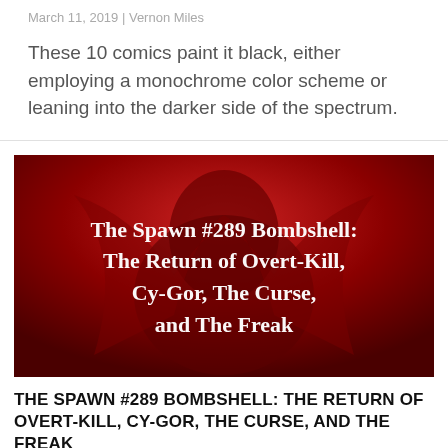March 11, 2019 | Vernon Miles
These 10 comics paint it black, either employing a monochrome color scheme or leaning into the darker side of the spectrum.
[Figure (illustration): Red-toned comic book image of an armored character with text overlay: The Spawn #289 Bombshell: The Return of Overt-Kill, Cy-Gor, The Curse, and The Freak]
THE SPAWN #289 BOMBSHELL: THE RETURN OF OVERT-KILL, CY-GOR, THE CURSE, AND THE FREAK